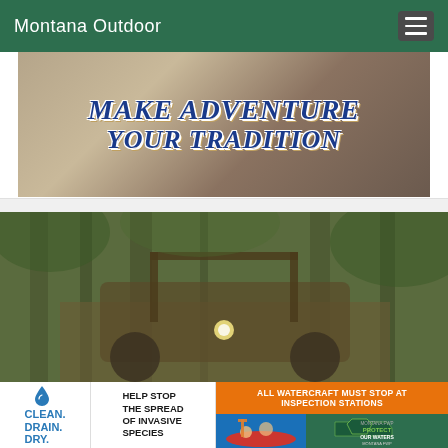Montana Outdoor
[Figure (photo): Banner with text 'MAKE ADVENTURE YOUR TRADITION' over an outdoor/nature background]
[Figure (photo): Person riding a camo-colored ATV/UTV through a wooded forest area]
[Figure (infographic): Clean. Drain. Dry. Help stop the spread of invasive species. All watercraft must stop at inspection stations. Protect Our Waters - Montana FWP advertisement banner]